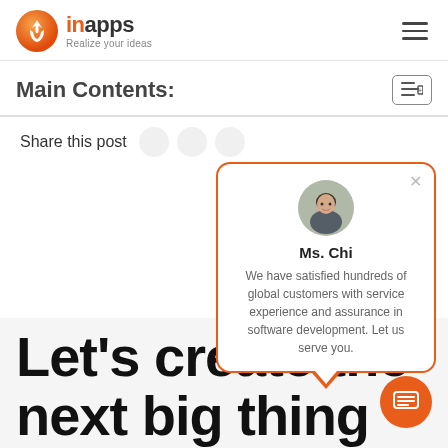[Figure (logo): InApps logo with orange circular icon and text 'inapps Realize your ideas']
Main Contents:
Share this post
[Figure (infographic): Chat popup with avatar of Ms. Chi, orange border, name 'Ms. Chi', message: 'We have satisfied hundreds of global customers with service experience and assurance in software development. Let us serve you.']
Let's create the next big thing